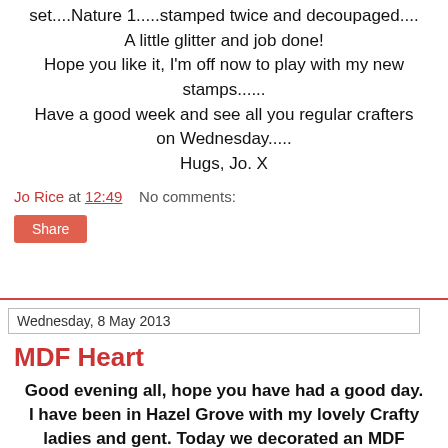set....Nature 1.....stamped twice and decoupaged.... A little glitter and job done! Hope you like it, I'm off now to play with my new stamps...... Have a good week and see all you regular crafters on Wednesday..... Hugs, Jo. X
Jo Rice at 12:49    No comments:
Share
Wednesday, 8 May 2013
MDF Heart
Good evening all, hope you have had a good day. I have been in Hazel Grove with my lovely Crafty ladies and gent. Today we decorated an MDF Heart.